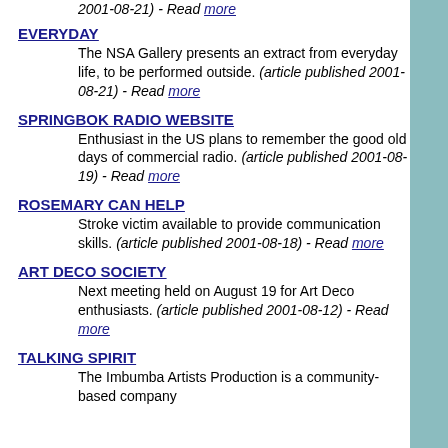2001-08-21) - Read more
EVERYDAY
The NSA Gallery presents an extract from everyday life, to be performed outside. (article published 2001-08-21) - Read more
SPRINGBOK RADIO WEBSITE
Enthusiast in the US plans to remember the good old days of commercial radio. (article published 2001-08-19) - Read more
ROSEMARY CAN HELP
Stroke victim available to provide communication skills. (article published 2001-08-18) - Read more
ART DECO SOCIETY
Next meeting held on August 19 for Art Deco enthusiasts. (article published 2001-08-12) - Read more
TALKING SPIRIT
The Imbumba Artists Production is a community-based company